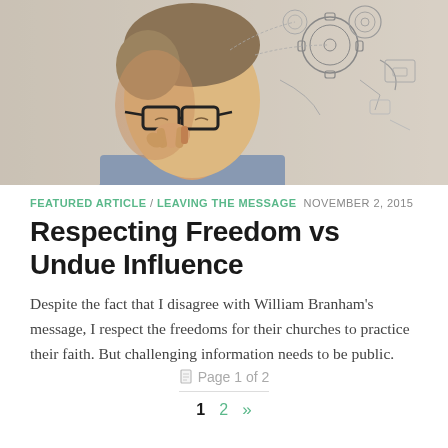[Figure (photo): A man in glasses pinching his nose/bridge, eyes closed, with illustrated gears and mechanical drawings emanating from the top of his head against a light background.]
FEATURED ARTICLE / LEAVING THE MESSAGE  NOVEMBER 2, 2015
Respecting Freedom vs Undue Influence
Despite the fact that I disagree with William Branham's message, I respect the freedoms for their churches to practice their faith. But challenging information needs to be public.
Page 1 of 2
1  2  »